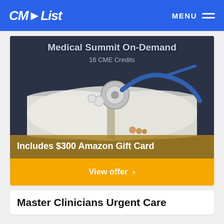CMEList  MENU
[Figure (photo): Medical Summit On-Demand promotional banner with stethoscope on open book, dark background. Text overlays: 'Medical Summit On-Demand', '16 CME Credits', 'Includes $300 Amazon Gift Card']
View offer  >
Master Clinicians Urgent Care